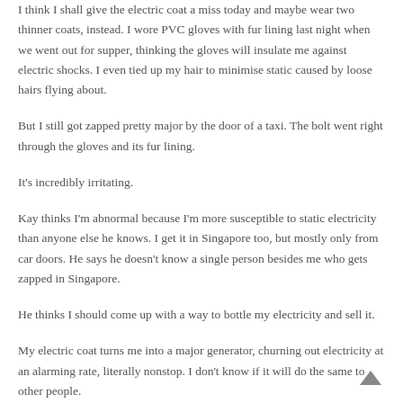I think I shall give the electric coat a miss today and maybe wear two thinner coats, instead. I wore PVC gloves with fur lining last night when we went out for supper, thinking the gloves will insulate me against electric shocks. I even tied up my hair to minimise static caused by loose hairs flying about.
But I still got zapped pretty major by the door of a taxi. The bolt went right through the gloves and its fur lining.
It's incredibly irritating.
Kay thinks I'm abnormal because I'm more susceptible to static electricity than anyone else he knows. I get it in Singapore too, but mostly only from car doors. He says he doesn't know a single person besides me who gets zapped in Singapore.
He thinks I should come up with a way to bottle my electricity and sell it.
My electric coat turns me into a major generator, churning out electricity at an alarming rate, literally nonstop. I don't know if it will do the same to other people.